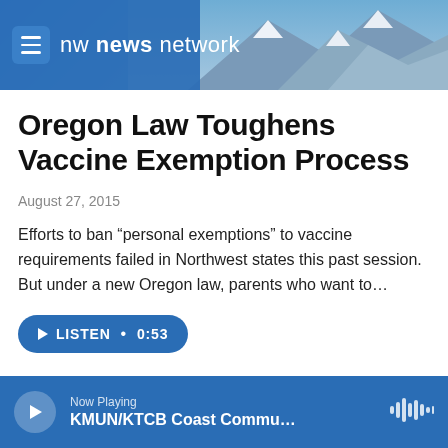nw news network
Oregon Law Toughens Vaccine Exemption Process
August 27, 2015
Efforts to ban “personal exemptions” to vaccine requirements failed in Northwest states this past session. But under a new Oregon law, parents who want to…
LISTEN • 0:53
Load More
Now Playing
KMUN/KTCB Coast Commu…